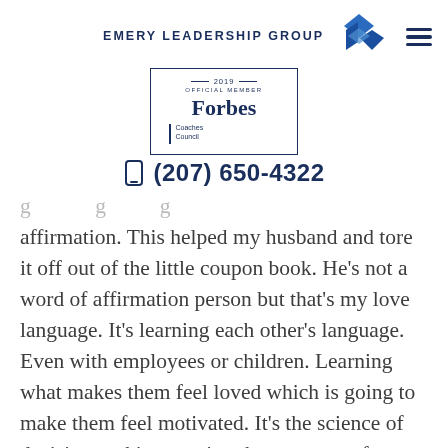[Figure (logo): Emery Leadership Group logo with blue diamond shapes and text 'EMERY LEADERSHIP GROUP']
[Figure (logo): Forbes Coaches Council 2019 Official Member badge in a rectangular border]
(207) 650-4322
affirmation. This helped my husband and tore it off out of the little coupon book. He's not a word of affirmation person but that's my love language. It's learning each other's language. Even with employees or children. Learning what makes them feel loved which is going to make them feel motivated. It's the science of decision-making, getting the most out of